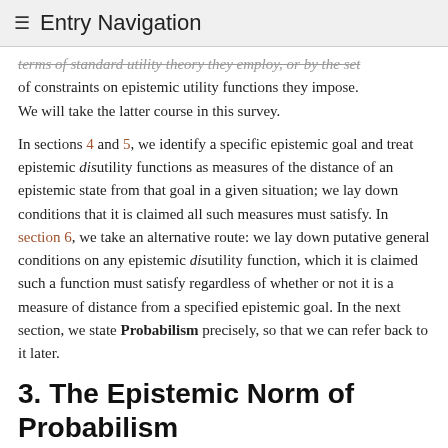≡ Entry Navigation
…terms of standard utility theory they employ, or by the set of constraints on epistemic utility functions they impose. We will take the latter course in this survey.
In sections 4 and 5, we identify a specific epistemic goal and treat epistemic disutility functions as measures of the distance of an epistemic state from that goal in a given situation; we lay down conditions that it is claimed all such measures must satisfy. In section 6, we take an alternative route: we lay down putative general conditions on any epistemic disutility function, which it is claimed such a function must satisfy regardless of whether or not it is a measure of distance from a specified epistemic goal. In the next section, we state Probabilism precisely, so that we can refer back to it later.
3. The Epistemic Norm of Probabilism
Probabilism is often said to be a coherence constraint on